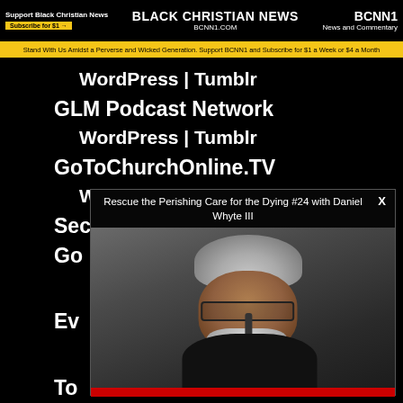BLACK CHRISTIAN NEWS | BCNN1.COM | BCNN1 News and Commentary
Stand With Us Amidst a Perverse and Wicked Generation. Support BCNN1 and Subscribe for $1 a Week or $4 a Month
WordPress | Tumblr
GLM Podcast Network
WordPress | Tumblr
GoToChurchOnline.TV
WordPress | Tumblr
Second Coming Chapel
[Figure (screenshot): Video popup overlay showing a man with grey hair and glasses, titled 'Rescue the Perishing Care for the Dying #24 with Daniel Whyte III']
Go
Ev
To
Ha